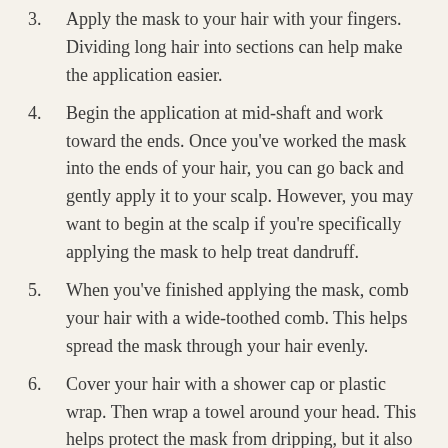3. Apply the mask to your hair with your fingers. Dividing long hair into sections can help make the application easier.
4. Begin the application at mid-shaft and work toward the ends. Once you've worked the mask into the ends of your hair, you can go back and gently apply it to your scalp. However, you may want to begin at the scalp if you're specifically applying the mask to help treat dandruff.
5. When you've finished applying the mask, comb your hair with a wide-toothed comb. This helps spread the mask through your hair evenly.
6. Cover your hair with a shower cap or plastic wrap. Then wrap a towel around your head. This helps protect the mask from dripping, but it also helps keep your hair from drying out. Warming up the